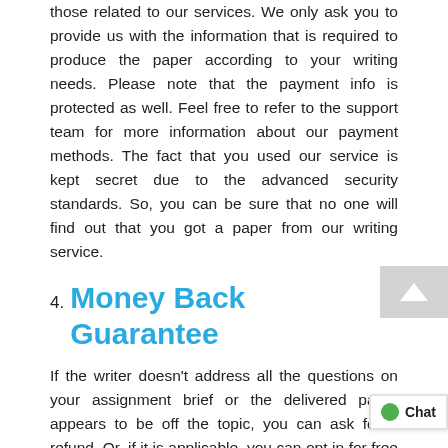those related to our services. We only ask you to provide us with the information that is required to produce the paper according to your writing needs. Please note that the payment info is protected as well. Feel free to refer to the support team for more information about our payment methods. The fact that you used our service is kept secret due to the advanced security standards. So, you can be sure that no one will find out that you got a paper from our writing service.
4. Money Back Guarantee
If the writer doesn't address all the questions on your assignment brief or the delivered paper appears to be off the topic, you can ask for a refund. Or, if it is applicable, you can opt in for free revision within 14-30 days, depending on your paper's length. The revision or refund request should be sent within 14 days after delivery. The customer gets 100% money-back in case they haven't downloaded the paper. All approved refunds will be returned to the customer's credit card or Bonus Balance in a form of store credit. Take a note that we will extra compensation if the customers goes with a store